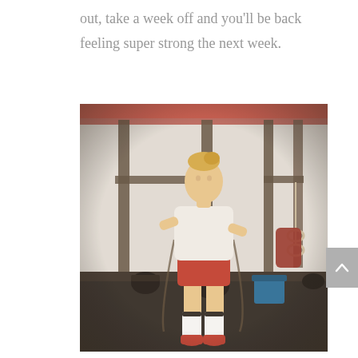out, take a week off and you'll be back feeling super strong the next week.
[Figure (photo): A woman in a white t-shirt, red shorts, white knee-high socks, and red shoes jumping rope inside a CrossFit gym with metal pull-up rigs, gymnastic rings, and barbells in the background.]